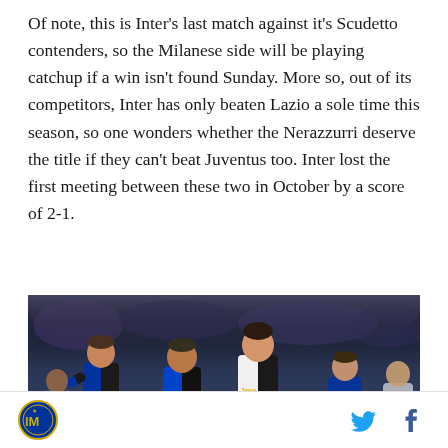Of note, this is Inter's last match against it's Scudetto contenders, so the Milanese side will be playing catchup if a win isn't found Sunday. More so, out of its competitors, Inter has only beaten Lazio a sole time this season, so one wonders whether the Nerazzurri deserve the title if they can't beat Juventus too. Inter lost the first meeting between these two in October by a score of 2-1.
[Figure (photo): Football match photo showing Inter Milan players in blue/black kits with Pirelli sponsor and Juventus player in white/black kit with Jeep sponsor, players competing during a match]
Inter Milan logo | Twitter icon | Facebook icon